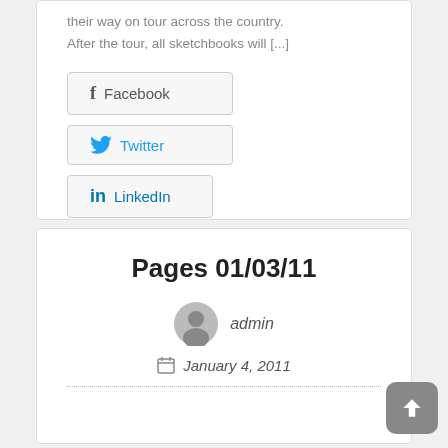their way on tour across the country. After the tour, all sketchbooks will [...]
[Figure (other): Social share buttons: Facebook, Twitter, LinkedIn]
CONTINUE READING
Pages 01/03/11
admin
January 4, 2011